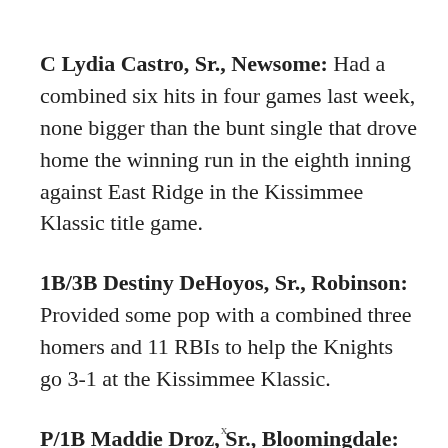C Lydia Castro, Sr., Newsome: Had a combined six hits in four games last week, none bigger than the bunt single that drove home the winning run in the eighth inning against East Ridge in the Kissimmee Klassic title game.
1B/3B Destiny DeHoyos, Sr., Robinson: Provided some pop with a combined three homers and 11 RBIs to help the Knights go 3-1 at the Kissimmee Klassic.
P/1B Maddie Droz, Sr., Bloomingdale: Finished 3-for-
x